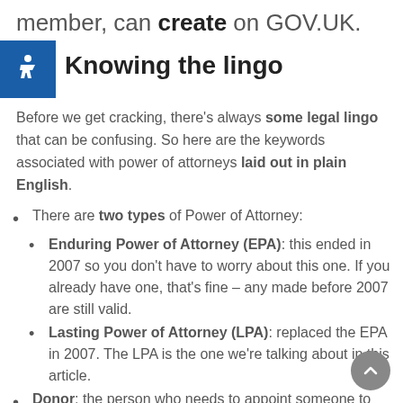member, can create on GOV.UK.
Knowing the lingo
Before we get cracking, there's always some legal lingo that can be confusing. So here are the keywords associated with power of attorneys laid out in plain English.
There are two types of Power of Attorney:
Enduring Power of Attorney (EPA): this ended in 2007 so you don't have to worry about this one. If you already have one, that's fine – any made before 2007 are still valid.
Lasting Power of Attorney (LPA): replaced the EPA in 2007. The LPA is the one we're talking about in this article.
Donor: the person who needs to appoint someone to make…